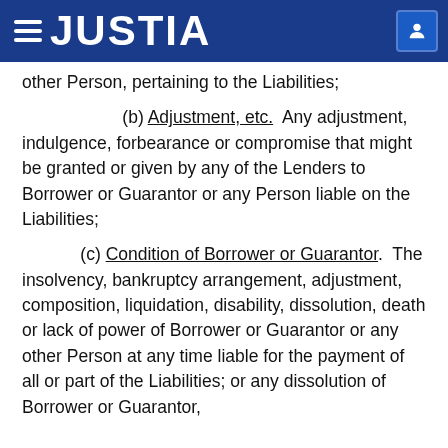JUSTIA
other Person, pertaining to the Liabilities;
(b) Adjustment, etc.  Any adjustment, indulgence, forbearance or compromise that might be granted or given by any of the Lenders to Borrower or Guarantor or any Person liable on the Liabilities;
(c) Condition of Borrower or Guarantor.  The insolvency, bankruptcy arrangement, adjustment, composition, liquidation, disability, dissolution, death or lack of power of Borrower or Guarantor or any other Person at any time liable for the payment of all or part of the Liabilities; or any dissolution of Borrower or Guarantor,